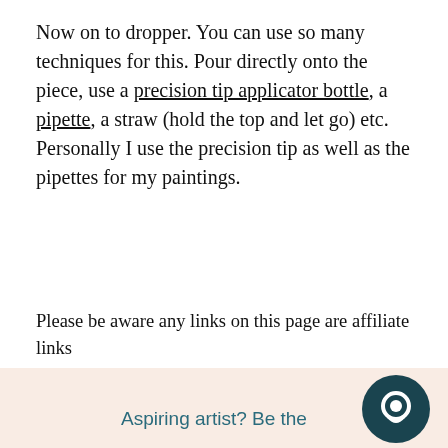Now on to dropper. You can use so many techniques for this. Pour directly onto the piece, use a precision tip applicator bottle, a pipette, a straw (hold the top and let go) etc. Personally I use the precision tip as well as the pipettes for my paintings.
Please be aware any links on this page are affiliate links
[Figure (illustration): Dark teal circular chat bubble icon with white speech bubble inside]
Aspiring artist? Be the